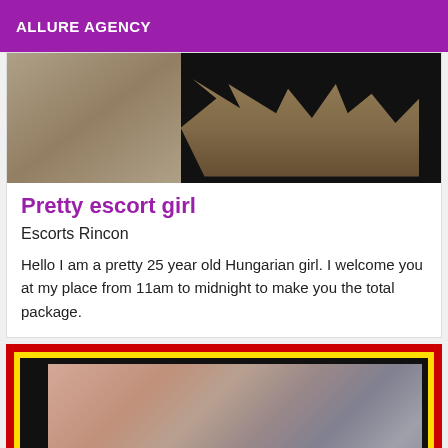ALLURE AGENCY
[Figure (photo): Top portion of an escort listing image showing clothing/fabric against dark background]
Pretty escort girl
Escorts Rincon
Hello I am a pretty 25 year old Hungarian girl. I welcome you at my place from 11am to midnight to make you the total package.
[Figure (photo): Second escort listing image with red and yellow decorative border frame, showing a blurred/obscured photo inside a black-framed inner border]